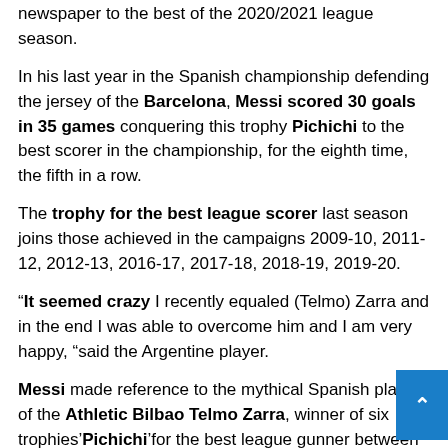newspaper to the best of the 2020/2021 league season.
In his last year in the Spanish championship defending the jersey of the Barcelona, Messi scored 30 goals in 35 games conquering this trophy Pichichi to the best scorer in the championship, for the eighth time, the fifth in a row.
The trophy for the best league scorer last season joins those achieved in the campaigns 2009-10, 2011-12, 2012-13, 2016-17, 2017-18, 2018-19, 2019-20.
“It seemed crazy I recently equaled (Telmo) Zarra and in the end I was able to overcome him and I am very happy, “said the Argentine player.
Messi made reference to the mythical Spanish player of the Athletic Bilbao Telmo Zarra, winner of six trophies’Pichichi’for the best league gunner between the